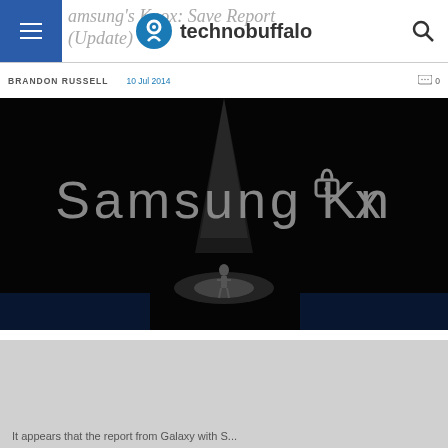technobuffalo
Samsung's Knox: Save Report (Update)
BRANDON RUSSELL   10 Jul 2014   0
[Figure (photo): Samsung Knox presentation event photo showing a dark stage with 'Samsung Knox' logo displayed, a presenter standing in spotlight on stage]
It appears that the report from Galaxy with S...